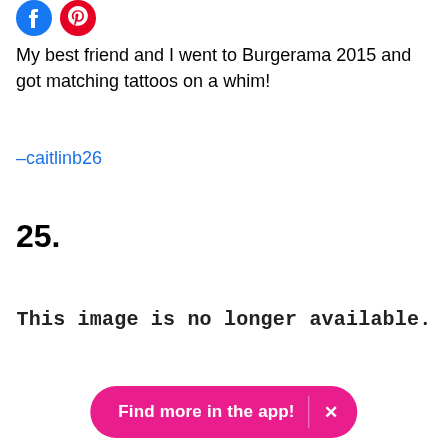[Figure (logo): Facebook and Pinterest social share icons]
My best friend and I went to Burgerama 2015 and got matching tattoos on a whim!
–caitlinb26
25.
[Figure (other): This image is no longer available.]
Find more in the app!